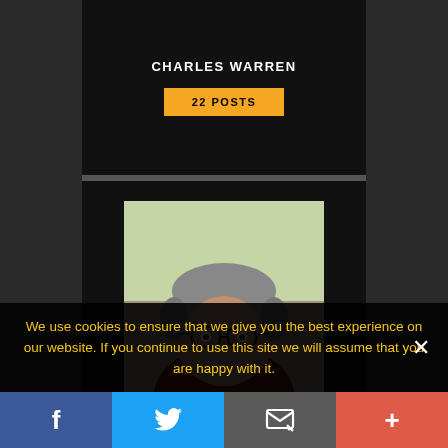CHARLES WARREN
22 POSTS
[Figure (photo): Profile photo of Larry Wallach, a middle-aged man with gray hair and glasses, wearing a dark red shirt]
LARRY WALLACH
18 POSTS
We use cookies to ensure that we give you the best experience on our website. If you continue to use this site we will assume that you are happy with it.